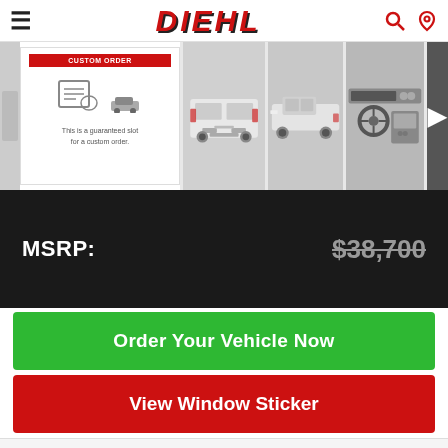DIEHL
[Figure (photo): Vehicle listing gallery showing: custom order slot placeholder, rear view of white RAM pickup truck, side view of white RAM pickup truck, interior dashboard view, and a more button.]
MSRP: $38,700
Order Your Vehicle Now
View Window Sticker
STOCK
RESVEVW3780
Alerts  Save  Compare 0  Login